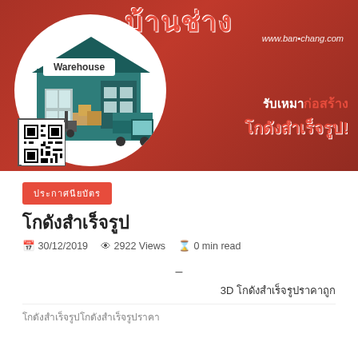[Figure (illustration): Warehouse infographic banner with red background, white circle containing a teal warehouse building with boxes and a truck, QR code in bottom-left, Thai text 'รับเหมาก่อสร้าง' on right, website www.banchang.com at top]
ประกาศนียบัตร
โกดังสำเร็จรูป
30/12/2019   2922 Views   0 min read
–
3D โกดังสำเร็จรูปราคาถูก
โกดังสำเร็จรูปโกดังสำเร็จรูปราคา